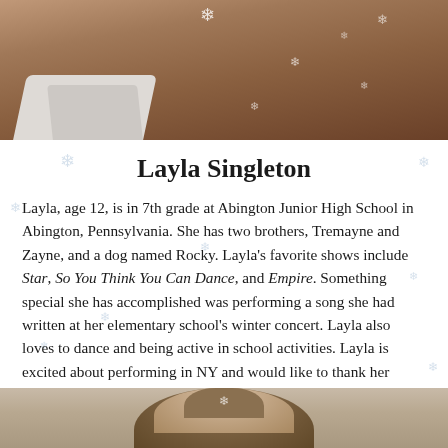[Figure (photo): Top portion of a photo of Layla Singleton, showing her neck/shoulders area with decorative snowflake overlays and a white shirt visible.]
Layla Singleton
Layla, age 12, is in 7th grade at Abington Junior High School in Abington, Pennsylvania. She has two brothers, Tremayne and Zayne, and a dog named Rocky. Layla's favorite shows include Star, So You Think You Can Dance, and Empire. Something special she has accomplished was performing a song she had written at her elementary school's winter concert. Layla also loves to dance and being active in school activities. Layla is excited about performing in NY and would like to thank her mother and grandmother for always backing her dreams.
[Figure (photo): Bottom portion of a photo of another person, showing the top of the head with brown hair against a light background.]